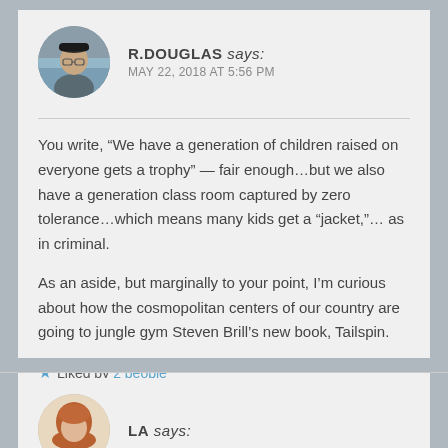[Figure (photo): Circular avatar photo of R.Douglas, an older man wearing a cap and glasses]
R.DOUGLAS says:
MAY 22, 2018 AT 5:56 PM
You write, “We have a generation of children raised on everyone gets a trophy” — fair enough…but we also have a generation class room captured by zero tolerance…which means many kids get a “jacket,”… as in criminal.
As an aside, but marginally to your point, I’m curious about how the cosmopolitan centers of our country are going to jungle gym Steven Brill’s new book, Tailspin.
★ Liked by 2 people
↪ Reply
[Figure (photo): Circular avatar photo of LA, a woman with reddish-brown hair]
LA says: